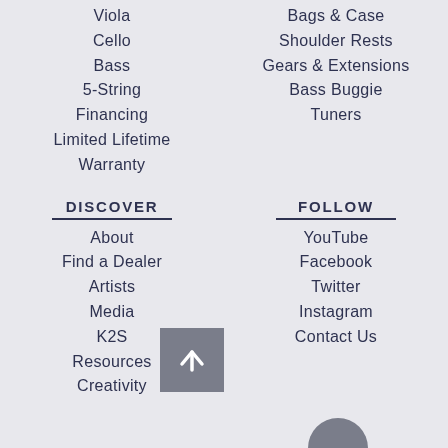Viola
Bags & Case
Cello
Shoulder Rests
Bass
Gears & Extensions
5-String
Bass Buggie
Financing
Tuners
Limited Lifetime Warranty
DISCOVER
FOLLOW
About
YouTube
Find a Dealer
Facebook
Artists
Twitter
Media
Instagram
K2S
Contact Us
Resources
Creativity